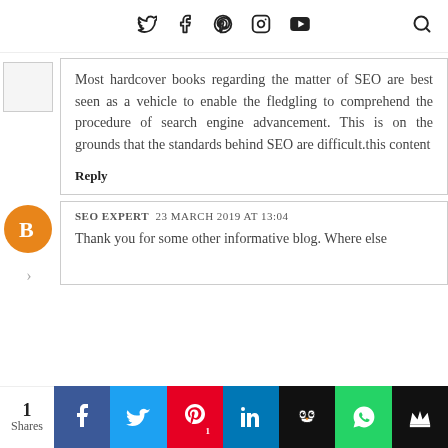Social media nav icons: Twitter, Facebook, Pinterest, Instagram, YouTube, Search
Most hardcover books regarding the matter of SEO are best seen as a vehicle to enable the fledgling to comprehend the procedure of search engine advancement. This is on the grounds that the standards behind SEO are difficult.this content
Reply
SEO EXPERT  23 MARCH 2019 AT 13:04
Thank you for some other informative blog. Where else
1 Shares  Facebook  Twitter  Pinterest 1  LinkedIn  Buffer  WhatsApp  Crown